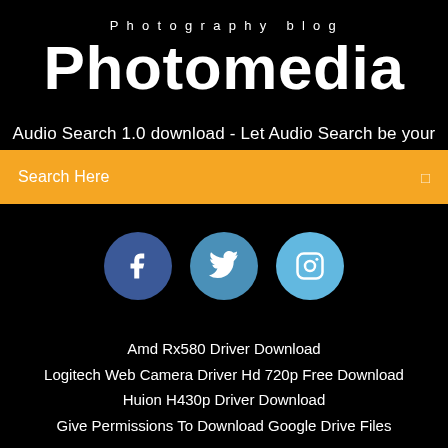Photography blog
Photomedia
Audio Search 1.0 download - Let Audio Search be your
Search Here
[Figure (illustration): Three social media icon circles: Facebook (dark blue), Twitter (medium blue), Instagram (light blue)]
Amd Rx580 Driver Download
Logitech Web Camera Driver Hd 720p Free Download
Huion H430p Driver Download
Give Permissions To Download Google Drive Files